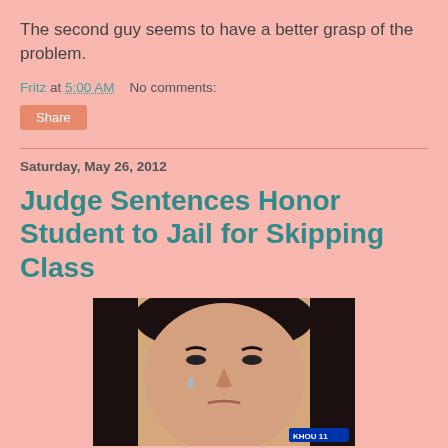The second guy seems to have a better grasp of the problem.
Fritz at 5:00 AM    No comments:
Share
Saturday, May 26, 2012
Judge Sentences Honor Student to Jail for Skipping Class
[Figure (photo): Photo of a young Asian woman with a distressed/crying expression, with a TV news bug in the lower right corner.]